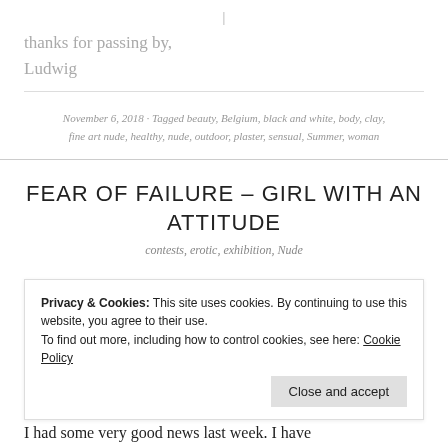|
thanks for passing by,
Ludwig
November 6, 2018 · Tagged beauty, Belgium, black and white, body, clay, fine art nude, healthy, nude, outdoor, plaster, sensual, Summer, woman
FEAR OF FAILURE – GIRL WITH AN ATTITUDE
contests, erotic, exhibition, Nude
Privacy & Cookies: This site uses cookies. By continuing to use this website, you agree to their use.
To find out more, including how to control cookies, see here: Cookie Policy
I had some very good news last week. I have